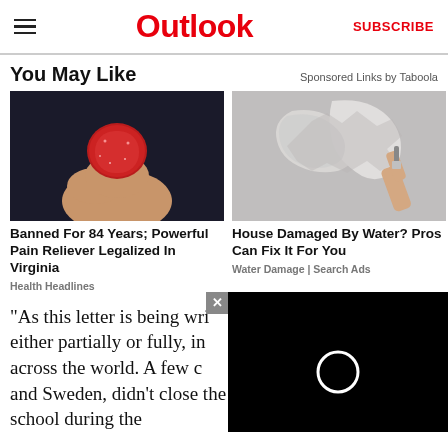Outlook | SUBSCRIBE
You May Like
Sponsored Links by Taboola
[Figure (photo): Hand holding a red gummy candy against dark background - ad for pain reliever]
Banned For 84 Years; Powerful Pain Reliever Legalized In Virginia
Health Headlines
[Figure (photo): Damaged wall with peeling plaster, hand visible - ad for water damage repair]
House Damaged By Water? Pros Can Fix It For You
Water Damage | Search Ads
“As this letter is being wri… either partially or fully, in… across the world. A few c… and Sweden, didn’t close the school during the
[Figure (screenshot): Video player overlay showing black screen with circular loading/play icon]